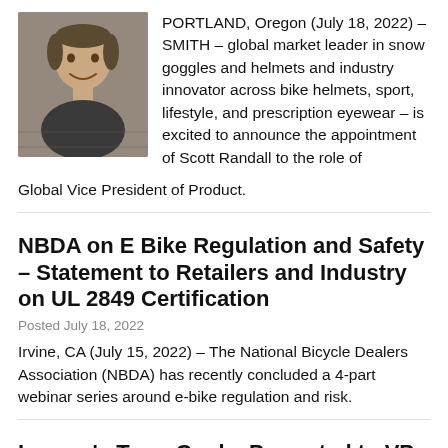[Figure (photo): Headshot photo of Scott Randall, a man smiling against a brick background]
PORTLAND, Oregon (July 18, 2022) – SMITH – global market leader in snow goggles and helmets and industry innovator across bike helmets, sport, lifestyle, and prescription eyewear – is excited to announce the appointment of Scott Randall to the role of Global Vice President of Product.
NBDA on E Bike Regulation and Safety – Statement to Retailers and Industry on UL 2849 Certification
Posted July 18, 2022
Irvine, CA (July 15, 2022) – The National Bicycle Dealers Association (NBDA) has recently concluded a 4-part webinar series around e-bike regulation and risk.
Lezyne's Terry Cooke Promoted to VP of Production and Engineering
Posted July 14, 2022